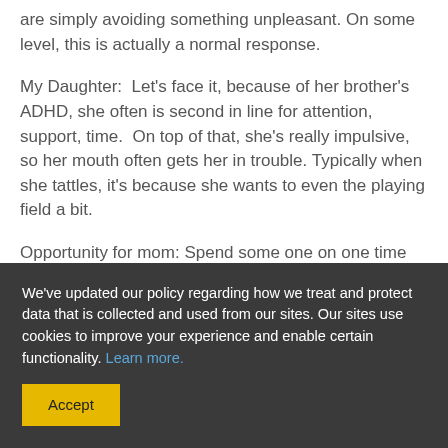are simply avoiding something unpleasant. On some level, this is actually a normal response.
My Daughter:  Let's face it, because of her brother's ADHD, she often is second in line for attention, support, time.  On top of that, she's really impulsive, so her mouth often gets her in trouble. Typically when she tattles, it's because she wants to even the playing field a bit.
Opportunity for mom: Spend some one on one time
We've updated our policy regarding how we treat and protect data that is collected and used from our sites. Our sites use cookies to improve your experience and enable certain functionality. Learn more.
Accept